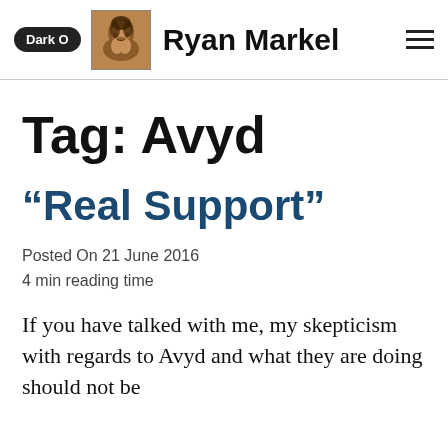Dark O  Ryan Markel
Tag: Avyd
“Real Support”
Posted On 21 June 2016
4 min reading time
If you have talked with me, my skepticism with regards to Avyd and what they are doing should not be